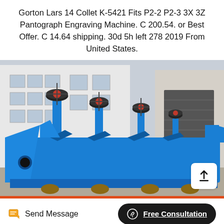Gorton Lars 14 Collet K-5421 Fits P2-2 P2-3 3X 3Z Pantograph Engraving Machine. C 200.54. or Best Offer. C 14.64 shipping. 30d 5h left 278 2019 From United States.
[Figure (photo): A large industrial blue flotation/separation machine with multiple vertical impeller columns with red handwheels on top, sitting on a wheeled cart, photographed outdoors in front of a white industrial building]